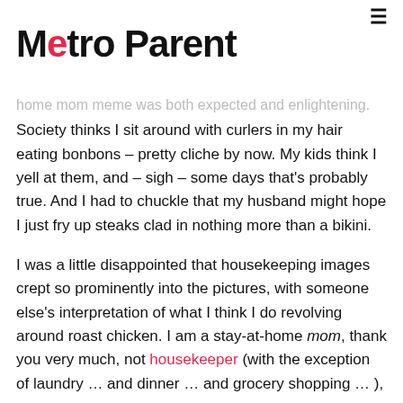Metro Parent
home mom meme was both expected and enlightening. Society thinks I sit around with curlers in my hair eating bonbons – pretty cliche by now. My kids think I yell at them, and – sigh – some days that's probably true. And I had to chuckle that my husband might hope I just fry up steaks clad in nothing more than a bikini.
I was a little disappointed that housekeeping images crept so prominently into the pictures, with someone else's interpretation of what I think I do revolving around roast chicken. I am a stay-at-home mom, thank you very much, not housekeeper (with the exception of laundry … and dinner … and grocery shopping … ), and I'd like to think of